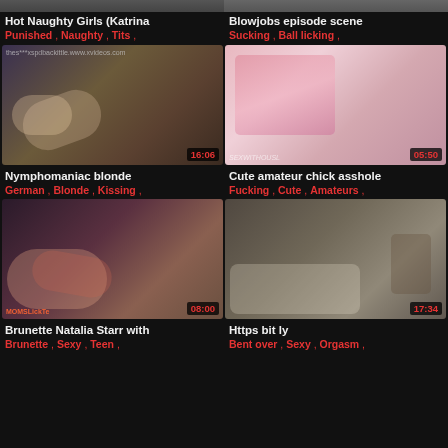[Figure (screenshot): Top strip thumbnails partially visible]
Hot Naughty Girls (Katrina
Punished , Naughty , Tits ,
Blowjobs episode scene
Sucking , Ball licking ,
[Figure (screenshot): Video thumbnail 16:06 - blonde woman scene]
[Figure (screenshot): Video thumbnail 05:50 - pink floral scene]
Nymphomaniac blonde
German , Blonde , Kissing ,
Cute amateur chick asshole
Fucking , Cute , Amateurs ,
[Figure (screenshot): Video thumbnail 08:00 - two women on bed]
[Figure (screenshot): Video thumbnail 17:34 - couple on couch scene]
Brunette Natalia Starr with
Brunette , Sexy , Teen ,
Https bit ly
Bent over , Sexy , Orgasm ,